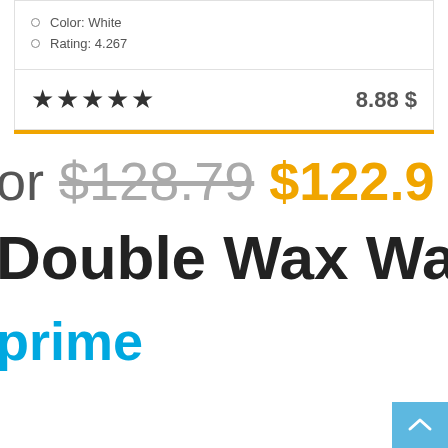Color: White
Rating: 4.267
★★★★★  8.88 $
or $128.79 $122.9
Double Wax Warm
prime